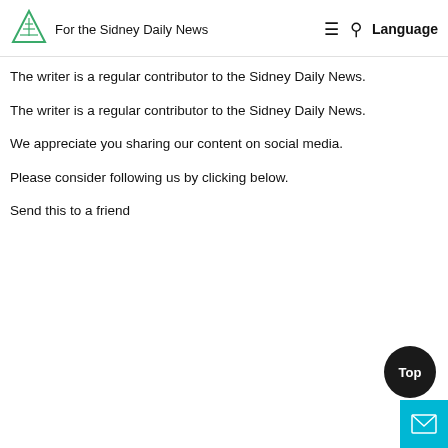For the Sidney Daily News
The writer is a regular contributor to the Sidney Daily News.
The writer is a regular contributor to the Sidney Daily News.
We appreciate you sharing our content on social media.
Please consider following us by clicking below.
Send this to a friend